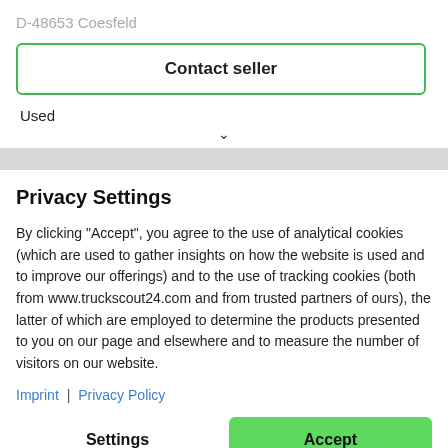D-48653 Coesfeld
Contact seller
Used
Privacy Settings
By clicking "Accept", you agree to the use of analytical cookies (which are used to gather insights on how the website is used and to improve our offerings) and to the use of tracking cookies (both from www.truckscout24.com and from trusted partners of ours), the latter of which are employed to determine the products presented to you on our page and elsewhere and to measure the number of visitors on our website.
Imprint | Privacy Policy
Settings
Accept